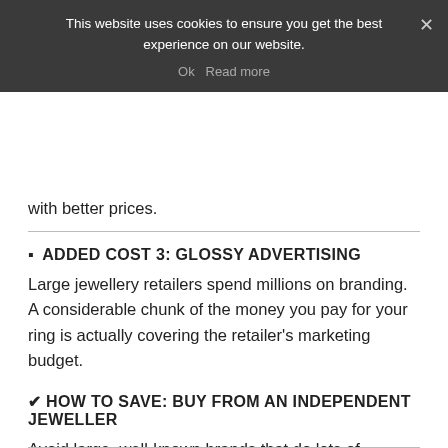This website uses cookies to ensure you get the best experience on our website.
Ok   Read more
with better prices.
▪ ADDED COST 3: GLOSSY ADVERTISING
Large jewellery retailers spend millions on branding. A considerable chunk of the money you pay for your ring is actually covering the retailer's marketing budget.
✔ HOW TO SAVE: BUY FROM AN INDEPENDENT JEWELLER
Avoid large, well-known brands that do lots of advertising.